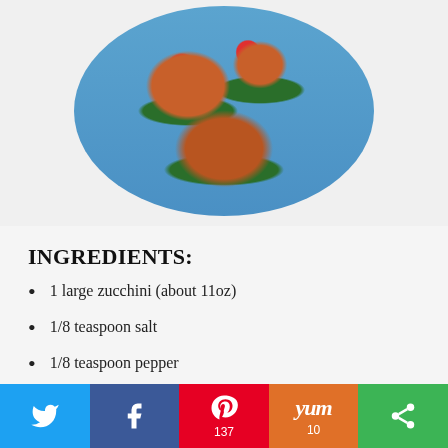[Figure (photo): Circular photo showing zucchini pizza bites topped with tomato sauce, melted cheese, and cherry tomatoes on a blue surface]
INGREDIENTS:
1 large zucchini (about 11oz)
1/8 teaspoon salt
1/8 teaspoon pepper
1/3 cup pizza sauce
Twitter | Facebook | Pinterest 137 | Yum 10 | Other